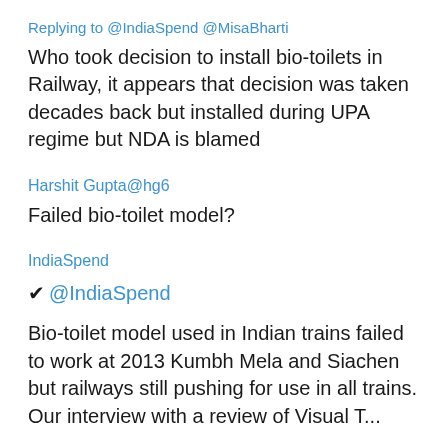Replying to @IndiaSpend @MisaBharti
Who took decision to install bio-toilets in Railway, it appears that decision was taken decades back but installed during UPA regime but NDA is blamed
Harshit Gupta@hg6
Failed bio-toilet model?
IndiaSpend
✔@IndiaSpend
Bio-toilet model used in Indian trains failed to work at 2013 Kumbh Mela and Siachen but railways still pushing for use in all trains. Our interview with a review of Visual T...